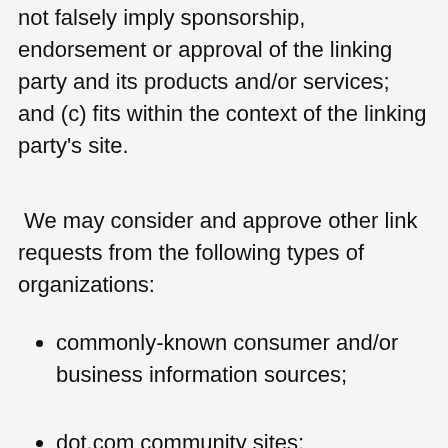not falsely imply sponsorship, endorsement or approval of the linking party and its products and/or services; and (c) fits within the context of the linking party's site.
We may consider and approve other link requests from the following types of organizations:
commonly-known consumer and/or business information sources;
dot.com community sites;
associations or other groups representing charities;
online directory distributors;